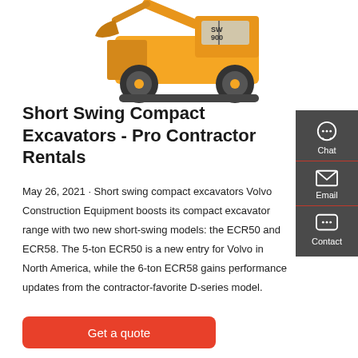[Figure (photo): Yellow compact excavator / construction equipment (Volvo SW900) photographed on white background, showing the machine from the side with large tires and bucket]
Short Swing Compact Excavators - Pro Contractor Rentals
May 26, 2021 · Short swing compact excavators Volvo Construction Equipment boosts its compact excavator range with two new short-swing models: the ECR50 and ECR58. The 5-ton ECR50 is a new entry for Volvo in North America, while the 6-ton ECR58 gains performance updates from the contractor-favorite D-series model.
Get a quote